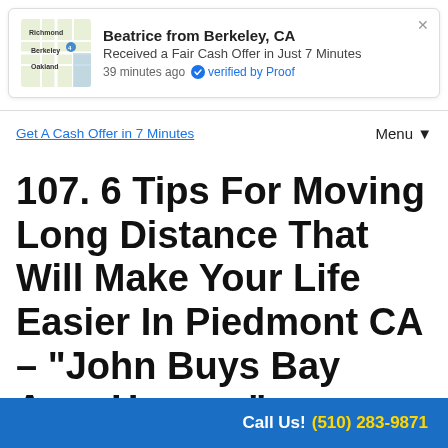[Figure (screenshot): Notification popup: Beatrice from Berkeley, CA received a Fair Cash Offer in Just 7 Minutes, 39 minutes ago, verified by Proof, with a map thumbnail showing Richmond, Berkeley, Oakland area.]
Get A Cash Offer in 7 Minutes   Menu▼
107. 6 Tips For Moving Long Distance That Will Make Your Life Easier In Piedmont CA – "John Buys Bay Area Houses"
September...
Call Us! (510) 283-9871